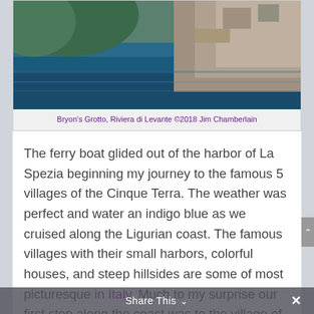[Figure (photo): Photo of Bryon's Grotto, Riviera di Levante — rocky coastal cliffs with blue-green water]
Bryon's Grotto, Riviera di Levante ©2018 Jim Chamberlain
The ferry boat glided out of the harbor of La Spezia beginning my journey to the famous 5 villages of the Cinque Terra. The weather was perfect and water an indigo blue as we cruised along the Ligurian coast. The famous villages with their small harbors, colorful houses, and steep hillsides are some of most picturesque in Italy. Much to my surprise our first stop along the coast was to the village of Porto Venere on the Bay of Poets. This stretch of coastline is known as the Riviera di Levante, the coast of the rising
Share This